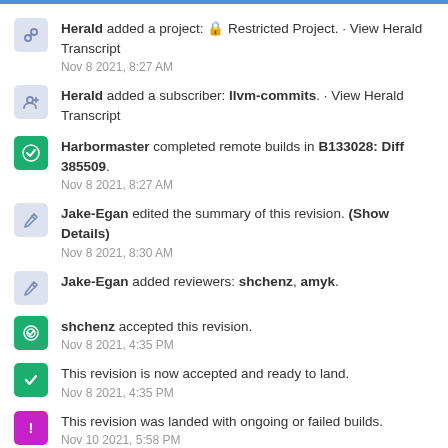Herald added a project: Restricted Project. · View Herald Transcript
Nov 8 2021, 8:27 AM
Herald added a subscriber: llvm-commits. · View Herald Transcript
Harbormaster completed remote builds in B133028: Diff 385509.
Nov 8 2021, 8:27 AM
Jake-Egan edited the summary of this revision. (Show Details)
Nov 8 2021, 8:30 AM
Jake-Egan added reviewers: shchenz, amyk.
shchenz accepted this revision.
Nov 8 2021, 4:35 PM
This revision is now accepted and ready to land.
Nov 8 2021, 4:35 PM
This revision was landed with ongoing or failed builds.
Nov 10 2021, 5:58 PM
Closed by commit rG423ea9ae7f7e: [AIX] XFAIL 2009-03-29-